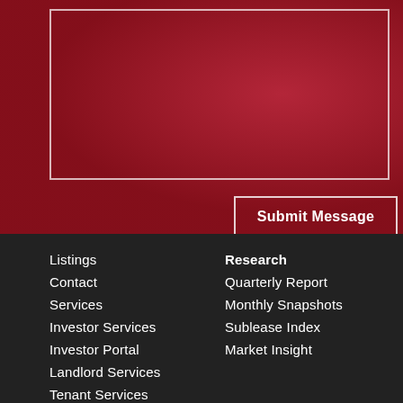[Figure (screenshot): Red background section with a textarea input box with white border]
Submit Message
Listings
Contact
Services
Investor Services
Investor Portal
Landlord Services
Tenant Services (partial)
Research
Quarterly Report
Monthly Snapshots
Sublease Index
Market Insight